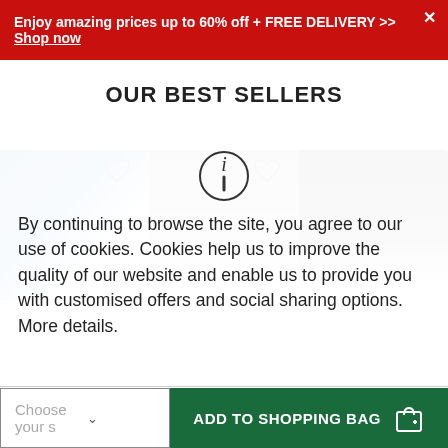Enjoy amazing prices up to 60% off + FREE DELIVERY >> Shop now
OUR BEST SELLERS
[Figure (photo): Three product images (jackets/tops) in a best sellers carousel, partially visible, with heart/wishlist icons]
By continuing to browse the site, you agree to our use of cookies. Cookies help us to improve the quality of our website and enable us to provide you with customised offers and social sharing options. More details.
Choose your s
ADD TO SHOPPING BAG